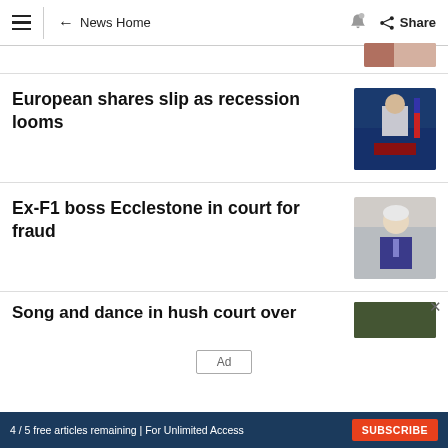News Home | Share
[Figure (photo): Partial thumbnail image at top, partially visible]
European shares slip as recession looms
[Figure (photo): Photo of a man at a podium with flags behind him]
Ex-F1 boss Ecclestone in court for fraud
[Figure (photo): Photo of an elderly man with white hair in a suit]
Song and dance in hush court over
[Figure (photo): Partial thumbnail image at bottom]
Ad
4 / 5 free articles remaining | For Unlimited Access  SUBSCRIBE